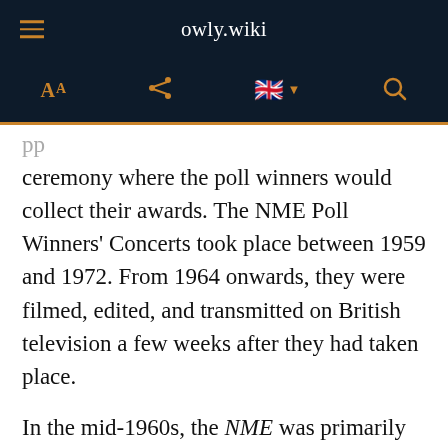owly.wiki
ceremony where the poll winners would collect their awards. The NME Poll Winners' Concerts took place between 1959 and 1972. From 1964 onwards, they were filmed, edited, and transmitted on British television a few weeks after they had taken place.
In the mid-1960s, the NME was primarily dedicated to pop while its older rival, Melody Maker, was known for its more serious coverage of music. Other competing titles included Record Mirror, which led the way in championing American rhythm and blues, and Disc, which focused on chart news.[27] The